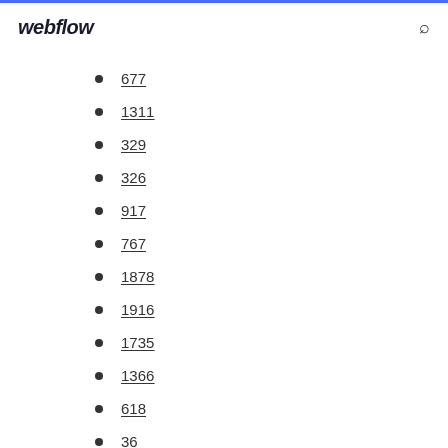webflow
677
1311
329
326
917
767
1878
1916
1735
1366
618
36